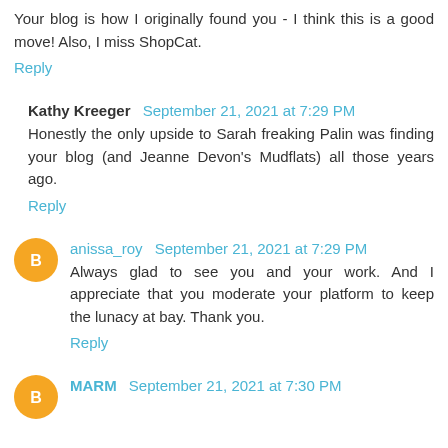Your blog is how I originally found you - I think this is a good move! Also, I miss ShopCat.
Reply
Kathy Kreeger  September 21, 2021 at 7:29 PM
Honestly the only upside to Sarah freaking Palin was finding your blog (and Jeanne Devon's Mudflats) all those years ago.
Reply
anissa_roy  September 21, 2021 at 7:29 PM
Always glad to see you and your work. And I appreciate that you moderate your platform to keep the lunacy at bay. Thank you.
Reply
MARM  September 21, 2021 at 7:30 PM